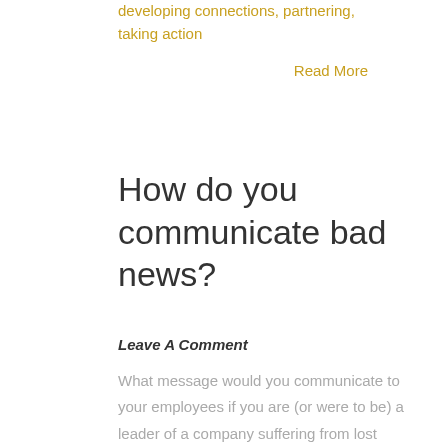developing connections, partnering, taking action
Read More
How do you communicate bad news?
Leave A Comment
What message would you communicate to your employees if you are (or were to be) a leader of a company suffering from lost profits, lost customers and/or lost value